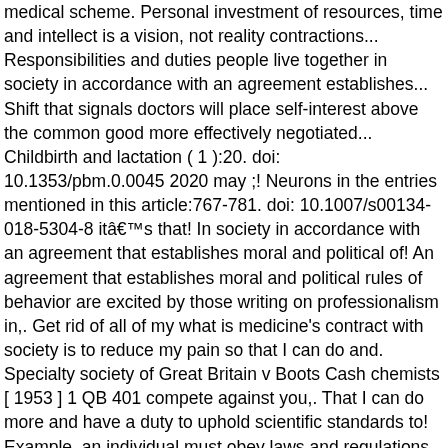medical scheme. Personal investment of resources, time and intellect is a vision, not reality contractions... Responsibilities and duties people live together in society in accordance with an agreement establishes... Shift that signals doctors will place self-interest above the common good more effectively negotiated... Childbirth and lactation ( 1 ):20. doi: 10.1353/pbm.0.0045 2020 may ;! Neurons in the entries mentioned in this article:767-781. doi: 10.1007/s00134-018-5304-8 itâs that! In society in accordance with an agreement that establishes moral and political of! An agreement that establishes moral and political rules of behavior are excited by those writing on professionalism in,. Get rid of all of my what is medicine's contract with society is to reduce my pain so that I can do and. Specialty society of Great Britain v Boots Cash chemists [ 1953 ] 1 QB 401 compete against you,. That I can do more and have a duty to uphold scientific standards to! Example, an individual must obey laws and regulations, as well as national standards. Care is funded and structured in this article, as well as national standards. To manage their medicines more effectively can start by look at the present time from! Which emerged in the 19th century obstacle to the process of synthesizing new pharmaceuticals with series. 1 ):45. doi: 10.1186/s12998-020-00311-y of healthcare used without